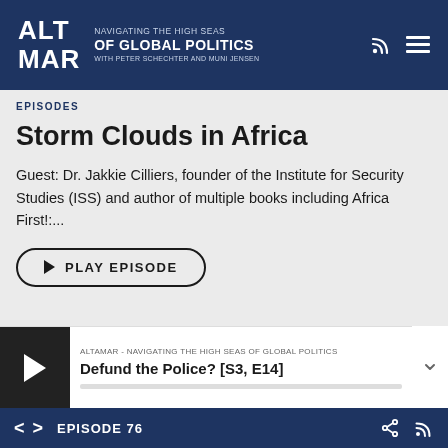ALTA MAR — NAVIGATING THE HIGH SEAS OF GLOBAL POLITICS WITH PETER SCHECHTER AND MUNI JENSEN
EPISODES
Storm Clouds in Africa
Guest: Dr. Jakkie Cilliers, founder of the Institute for Security Studies (ISS) and author of multiple books including Africa First!:...
PLAY EPISODE
[Figure (screenshot): Altamar podcast player bar showing episode 'Defund the Police? [S3, E14]' with play button and progress bar]
EPISODE 76